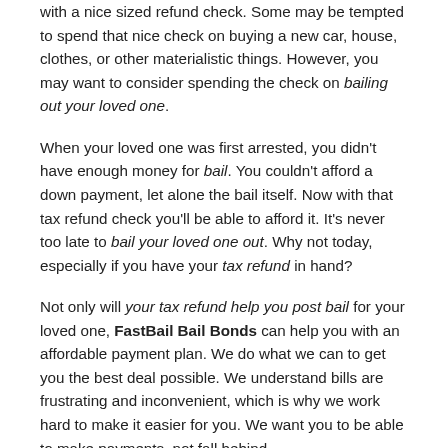with a nice sized refund check. Some may be tempted to spend that nice check on buying a new car, house, clothes, or other materialistic things. However, you may want to consider spending the check on bailing out your loved one.
When your loved one was first arrested, you didn't have enough money for bail. You couldn't afford a down payment, let alone the bail itself. Now with that tax refund check you'll be able to afford it. It's never too late to bail your loved one out. Why not today, especially if you have your tax refund in hand?
Not only will your tax refund help you post bail for your loved one, FastBail Bail Bonds can help you with an affordable payment plan. We do what we can to get you the best deal possible. We understand bills are frustrating and inconvenient, which is why we work hard to make it easier for you. We want you to be able to make payments, not fall behind.